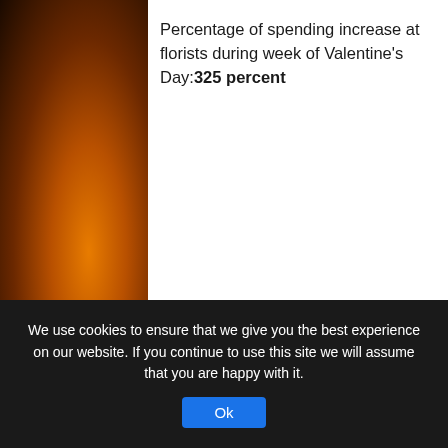Percentage of spending increase at florists during week of Valentine's Day: 325 percent
6. Reno, Nevada
[Figure (other): Broken image placeholder: 031012-052..jpg (600×399)]
We use cookies to ensure that we give you the best experience on our website. If you continue to use this site we will assume that you are happy with it.